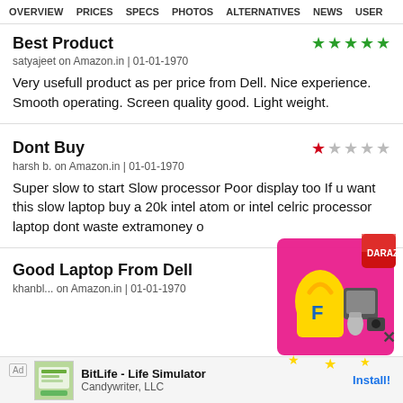OVERVIEW  PRICES  SPECS  PHOTOS  ALTERNATIVES  NEWS  USER
Best Product
satyajeet on Amazon.in | 01-01-1970
Very usefull product as per price from Dell. Nice experience. Smooth operating. Screen quality good. Light weight.
Dont Buy
harsh b. on Amazon.in | 01-01-1970
Super slow to start Slow processor Poor display too If u want this slow laptop buy a 20k intel atom or intel celric processor laptop dont waste extramoney o
Good Laptop From Dell
[Figure (illustration): Flipkart advertisement overlay showing yellow shopping bag, appliances, and red cube with Flipkart logo]
Ad  BitLife - Life Simulator
Candywriter, LLC    Install!